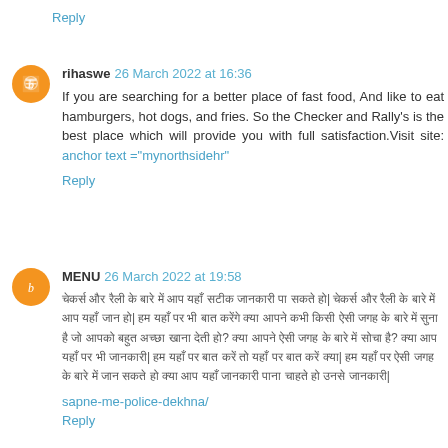Reply
rihaswe 26 March 2022 at 16:36
If you are searching for a better place of fast food, And like to eat hamburgers, hot dogs, and fries. So the Checker and Rally's is the best place which will provide you with full satisfaction.Visit site: anchor text ="mynorthsidehr"
Reply
MENU 26 March 2022 at 19:58
Hindi text content
sapne-me-police-dekhna/
Reply